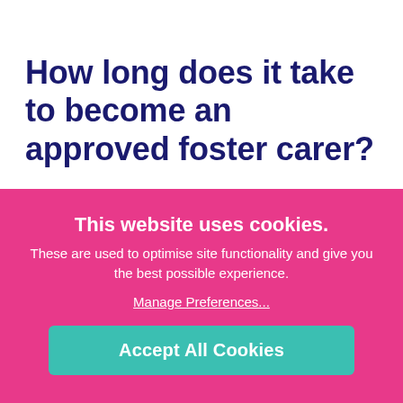How long does it take to become an approved foster carer?
The approval process (from submitting your
[Figure (screenshot): Cookie consent overlay banner with pink background. Title: 'This website uses cookies.' Body text: 'These are used to optimise site functionality and give you the best possible experience.' Link: 'Manage Preferences...' Button: 'Accept All Cookies' in teal.]